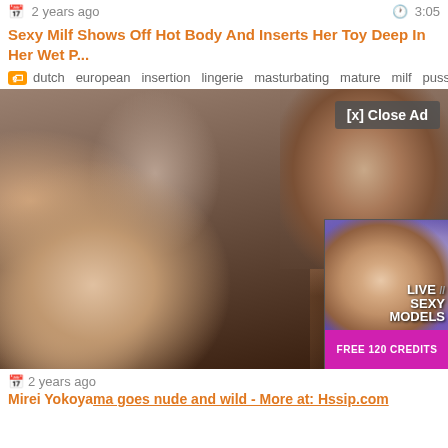2 years ago   3:05
Sexy Milf Shows Off Hot Body And Inserts Her Toy Deep In Her Wet P...
dutch  european  insertion  lingerie  masturbating  mature  milf  pussy  sexy  s...
[Figure (screenshot): Video thumbnail showing blurred adult content with a popup ad overlay showing 'LIVE SEXY MODELS' text and 'FREE 120 CREDITS' button. A '[x] Close Ad' button is visible in the upper right of the video area.]
2 years ago
Mirei Yokoyama goes nude and wild - More at: Hssip.com